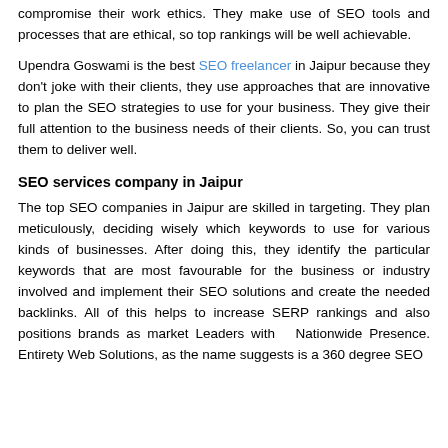compromise their work ethics. They make use of SEO tools and processes that are ethical, so top rankings will be well achievable.
Upendra Goswami is the best SEO freelancer in Jaipur because they don't joke with their clients, they use approaches that are innovative to plan the SEO strategies to use for your business. They give their full attention to the business needs of their clients. So, you can trust them to deliver well.
SEO services company in Jaipur
The top SEO companies in Jaipur are skilled in targeting. They plan meticulously, deciding wisely which keywords to use for various kinds of businesses. After doing this, they identify the particular keywords that are most favourable for the business or industry involved and implement their SEO solutions and create the needed backlinks. All of this helps to increase SERP rankings and also positions brands as market Leaders with Nationwide Presence. Entirety Web Solutions, as the name suggests is a 360 degree SEO